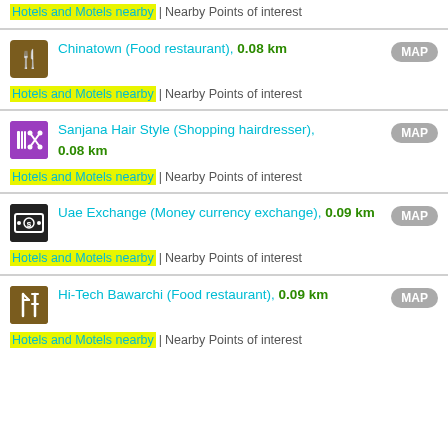Hotels and Motels nearby | Nearby Points of interest
Chinatown (Food restaurant), 0.08 km | Hotels and Motels nearby | Nearby Points of interest
Sanjana Hair Style (Shopping hairdresser), 0.08 km | Hotels and Motels nearby | Nearby Points of interest
Uae Exchange (Money currency exchange), 0.09 km | Hotels and Motels nearby | Nearby Points of interest
Hi-Tech Bawarchi (Food restaurant), 0.09 km | Hotels and Motels nearby | Nearby Points of interest